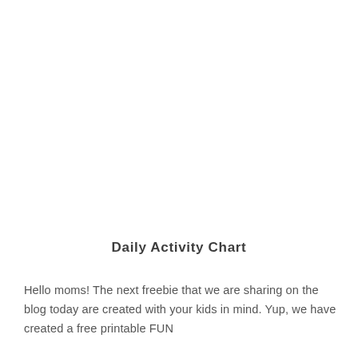Daily Activity Chart
Hello moms! The next freebie that we are sharing on the blog today are created with your kids in mind. Yup, we have created a free printable FUN